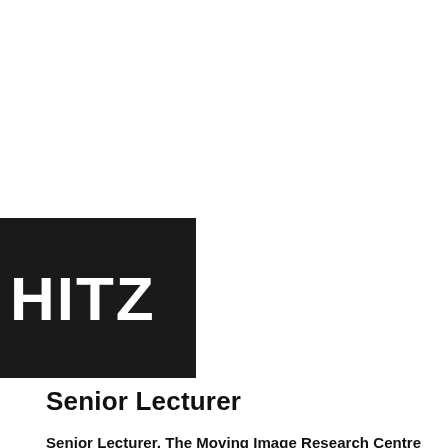[Figure (logo): Partial logo on black background showing letters 'HITZ' in white bold text]
Senior Lecturer
Senior Lecturer, The Moving Image Research Centre (MIRC)
Department of Architecture & Visual Arts, School of Arts and Creative Industries